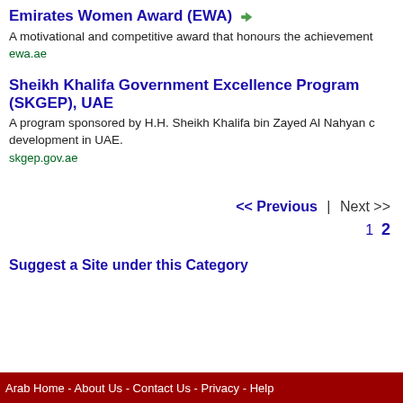Emirates Women Award (EWA)
A motivational and competitive award that honours the achievement
ewa.ae
Sheikh Khalifa Government Excellence Program (SKGEP), UAE
A program sponsored by H.H. Sheikh Khalifa bin Zayed Al Nahyan development in UAE.
skgep.gov.ae
<< Previous  |  Next >>
1  2
Suggest a Site under this Category
Arab Home - About Us - Contact Us - Privacy - Help